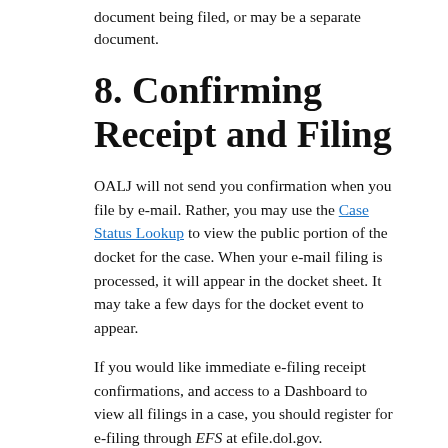document being filed, or may be a separate document.
8.  Confirming Receipt and Filing
OALJ will not send you confirmation when you file by e-mail.  Rather, you may use the Case Status Lookup to view the public portion of the docket for the case.  When your e-mail filing is processed, it will appear in the docket sheet.  It may take a few days for the docket event to appear.
If you would like immediate e-filing receipt confirmations, and access to a Dashboard to view all filings in a case, you should register for e-filing through EFS at efile.dol.gov.